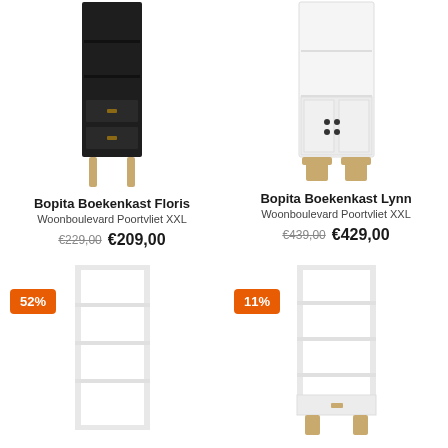[Figure (photo): Bopita Boekenkast Floris - tall black bookcase with drawers and wooden legs]
Bopita Boekenkast Floris
Woonboulevard Poortvliet XXL
€229,00  €209,00
[Figure (photo): Bopita Boekenkast Lynn - tall white bookcase with doors and wooden legs]
Bopita Boekenkast Lynn
Woonboulevard Poortvliet XXL
€439,00  €429,00
[Figure (photo): White open bookcase/shelving unit - 52% discount badge]
[Figure (photo): White bookcase with lower drawer and wooden legs - 11% discount badge]